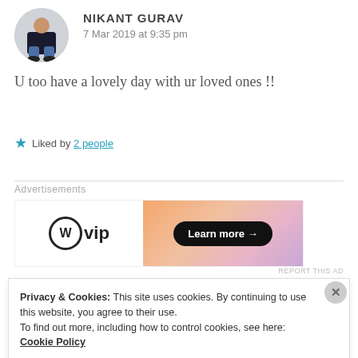[Figure (photo): Circular avatar photo of user Nikant Gurav, showing a person sitting wearing dark clothes]
NIKANT GURAV
7 Mar 2019 at 9:35 pm
U too have a lovely day with ur loved ones !!
Liked by 2 people
[Figure (other): WordPress VIP advertisement banner with Learn more button on gradient background]
Advertisements
REPORT THIS AD
Privacy & Cookies: This site uses cookies. By continuing to use this website, you agree to their use.
To find out more, including how to control cookies, see here: Cookie Policy
Close and accept